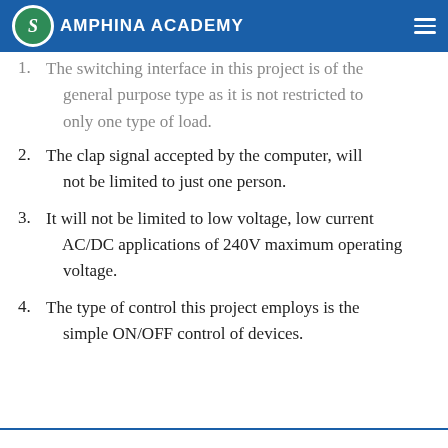Samphina Academy
1. The switching interface in this project is of the general purpose type as it is not restricted to only one type of load.
2. The clap signal accepted by the computer, will not be limited to just one person.
3. It will not be limited to low voltage, low current AC/DC applications of 240V maximum operating voltage.
4. The type of control this project employs is the simple ON/OFF control of devices.